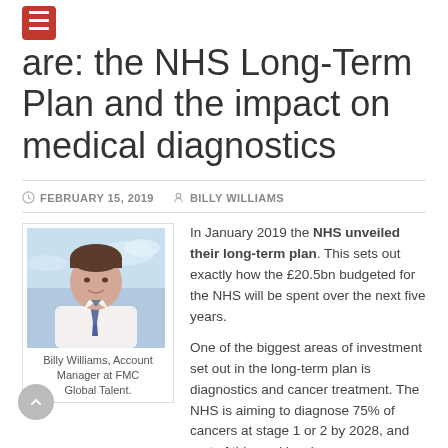are: the NHS Long-Term Plan and the impact on medical diagnostics
FEBRUARY 15, 2019  BILLY WILLIAMS
[Figure (photo): Portrait photo of Billy Williams, a young man in a white shirt and tie, smiling, with a blue-sky background.]
Billy Williams, Account Manager at FMC Global Talent.
In January 2019 the NHS unveiled their long-term plan. This sets out exactly how the £20.5bn budgeted for the NHS will be spent over the next five years.

One of the biggest areas of investment set out in the long-term plan is diagnostics and cancer treatment. The NHS is aiming to diagnose 75% of cancers at stage 1 or 2 by 2028, and part of this goal involves serious investment in diagnostics.